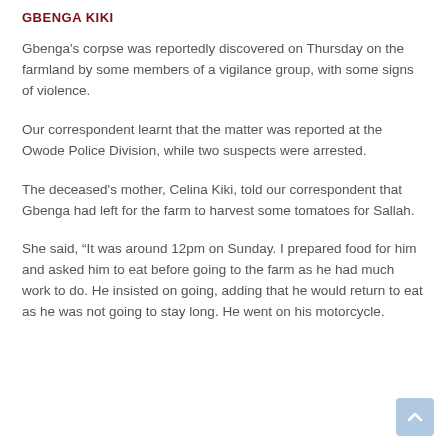GBENGA KIKI
Gbenga's corpse was reportedly discovered on Thursday on the farmland by some members of a vigilance group, with some signs of violence.
Our correspondent learnt that the matter was reported at the Owode Police Division, while two suspects were arrested.
The deceased's mother, Celina Kiki, told our correspondent that Gbenga had left for the farm to harvest some tomatoes for Sallah.
She said, “It was around 12pm on Sunday. I prepared food for him and asked him to eat before going to the farm as he had much work to do. He insisted on going, adding that he would return to eat as he was not going to stay long. He went on his motorcycle.